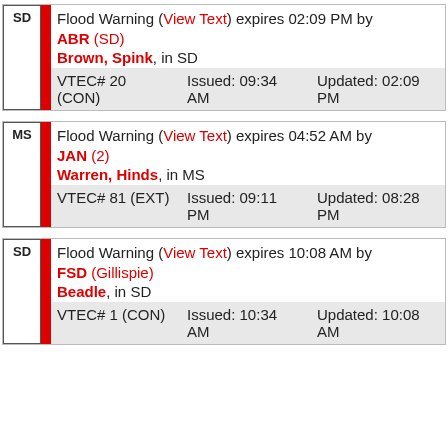SD | Flood Warning (View Text) expires 02:09 PM by ABR (SD) | Brown, Spink, in SD | VTEC# 20 (CON) Issued: 09:34 AM Updated: 02:09 PM
MS | Flood Warning (View Text) expires 04:52 AM by JAN (2) | Warren, Hinds, in MS | VTEC# 81 (EXT) Issued: 09:11 PM Updated: 08:28 PM
SD | Flood Warning (View Text) expires 10:08 AM by FSD (Gillispie) | Beadle, in SD | VTEC# 1 (CON) Issued: 10:34 AM Updated: 10:08 AM